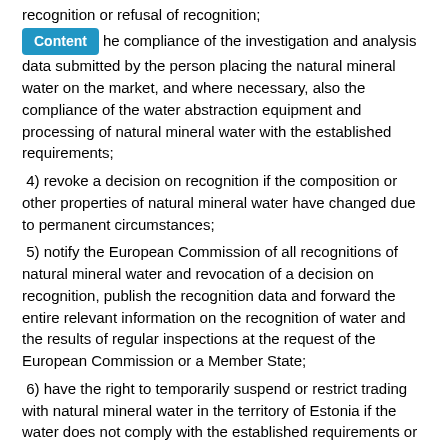recognition or refusal of recognition;
the compliance of the investigation and analysis data submitted by the person placing the natural mineral water on the market, and where necessary, also the compliance of the water abstraction equipment and processing of natural mineral water with the established requirements;
4) revoke a decision on recognition if the composition or other properties of natural mineral water have changed due to permanent circumstances;
5) notify the European Commission of all recognitions of natural mineral water and revocation of a decision on recognition, publish the recognition data and forward the entire relevant information on the recognition of water and the results of regular inspections at the request of the European Commission or a Member State;
6) have the right to temporarily suspend or restrict trading with natural mineral water in the territory of Estonia if the water does not comply with the established requirements or endangers human health, and immediately notify the European Commission and the responsible authorities of other Member States of the respective decision together with its reasons.
Chapter 4